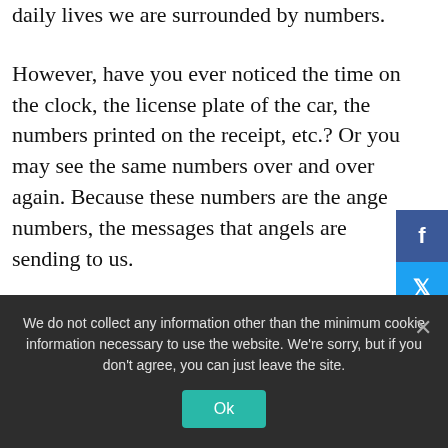daily lives we are surrounded by numbers.
However, have you ever noticed the time on the clock, the license plate of the car, the numbers printed on the receipt, etc.? Or you may see the same numbers over and over again. Because these numbers are the angel numbers, the messages that angels are sending to us.
Angels cannot talk to us directly. That's why it sends us a message through the numbers. From now on, I will explain the outline of the
We do not collect any information other than the minimum cookie information necessary to use the website. We're sorry, but if you don't agree, you can just leave the site.